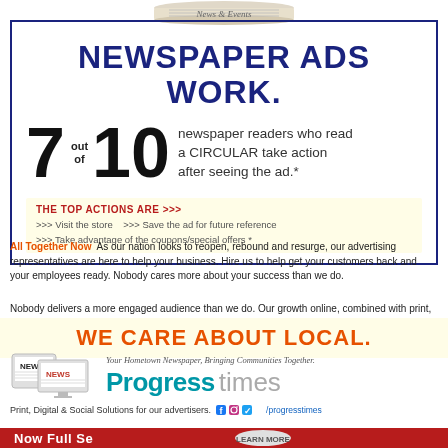[Figure (illustration): Newspaper roll with 'News & Events' text at top]
NEWSPAPER ADS WORK.
7 out of 10 newspaper readers who read a CIRCULAR take action after seeing the ad.*
THE TOP ACTIONS ARE >>> >>> Visit the store >>> Save the ad for future reference >>> Take advantage of the coupons/special offers *
All Together Now As our nation looks to reopen, rebound and resurge, our advertising representatives are here to help your business. Hire us to help get your customers back and your employees ready. Nobody cares more about your success than we do.
Nobody delivers a more engaged audience than we do. Our growth online, combined with print, is impressive as more readers turn to us for local news.
WE CARE ABOUT LOCAL.
[Figure (logo): Progress times newspaper logo with device icons showing digital and print presence]
Print, Digital & Social Solutions for our advertisers.  /progresstimes
Red bar at bottom of page